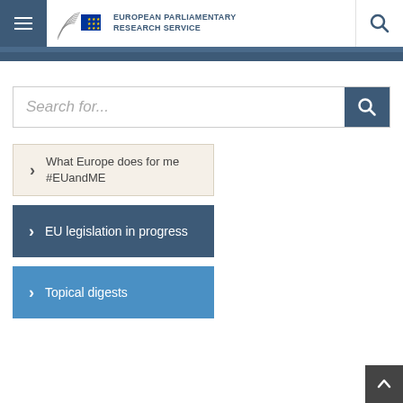European Parliamentary Research Service
Search for...
What Europe does for me #EUandME
EU legislation in progress
Topical digests